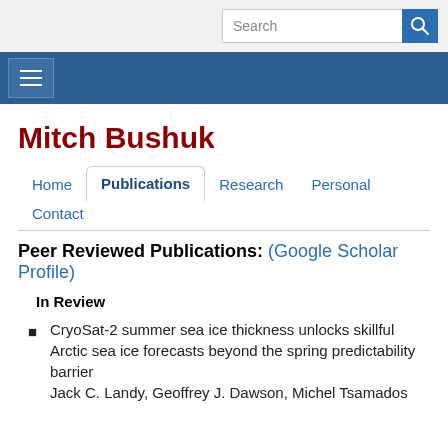Search
Mitch Bushuk
Home | Publications | Research | Personal | Contact
Peer Reviewed Publications: (Google Scholar Profile)
In Review
CryoSat-2 summer sea ice thickness unlocks skillful Arctic sea ice forecasts beyond the spring predictability barrier
Jack C. Landy, Geoffrey J. Dawson, Michel Tsamados